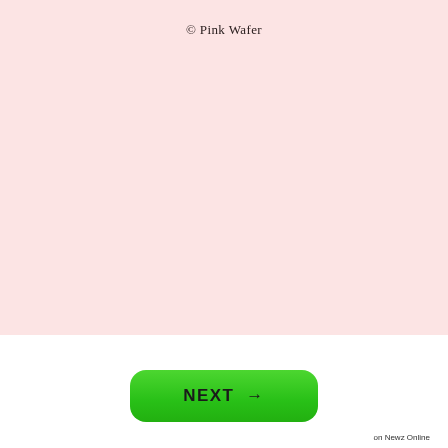[Figure (other): Large pink/blush background panel filling the upper three-quarters of the page]
© Pink Wafer
[Figure (other): Green rounded rectangle NEXT button with arrow, on white background]
on Newz Online